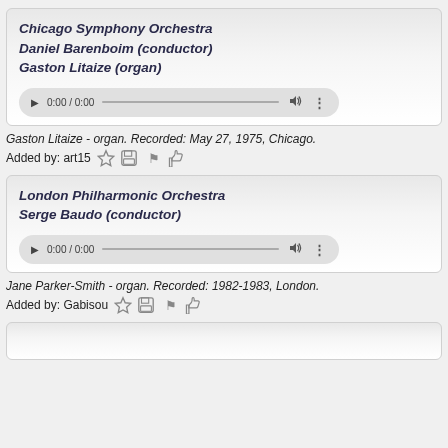Chicago Symphony Orchestra
Daniel Barenboim (conductor)
Gaston Litaize (organ)
[Figure (other): Audio player widget showing 0:00 / 0:00 with play button, progress bar, volume and more icons]
Gaston Litaize - organ. Recorded: May 27, 1975, Chicago.
Added by: art15
London Philharmonic Orchestra
Serge Baudo (conductor)
[Figure (other): Audio player widget showing 0:00 / 0:00 with play button, progress bar, volume and more icons]
Jane Parker-Smith - organ. Recorded: 1982-1983, London.
Added by: Gabisou